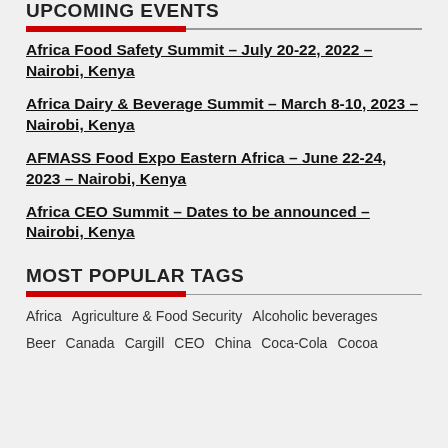UPCOMING EVENTS
Africa Food Safety Summit – July 20-22, 2022 – Nairobi, Kenya
Africa Dairy & Beverage Summit – March 8-10, 2023 – Nairobi, Kenya
AFMASS Food Expo Eastern Africa – June 22-24, 2023 – Nairobi, Kenya
Africa CEO Summit – Dates to be announced – Nairobi, Kenya
MOST POPULAR TAGS
Africa
Agriculture & Food Security
Alcoholic beverages
Beer
Canada
Cargill
CEO
China
Coca-Cola
Cocoa